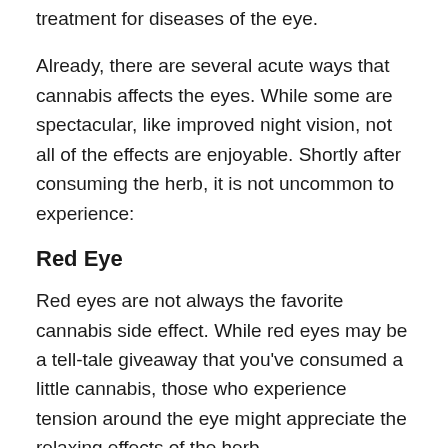treatment for diseases of the eye.
Already, there are several acute ways that cannabis affects the eyes. While some are spectacular, like improved night vision, not all of the effects are enjoyable. Shortly after consuming the herb, it is not uncommon to experience:
Red Eye
Red eyes are not always the favorite cannabis side effect. While red eyes may be a tell-tale giveaway that you've consumed a little cannabis, those who experience tension around the eye might appreciate the relaxing effects of the herb.